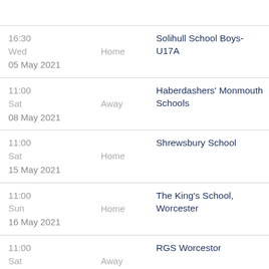| Date/Time | Location | Opponent |
| --- | --- | --- |
| 16:30
Wed
05 May 2021 | Home | Solihull School Boys-U17A |
| 11:00
Sat
08 May 2021 | Away | Haberdashers' Monmouth Schools |
| 11:00
Sat
15 May 2021 | Home | Shrewsbury School |
| 11:00
Sun
16 May 2021 | Home | The King's School, Worcester |
| 11:00
Sat | Away | RGS Worcester |